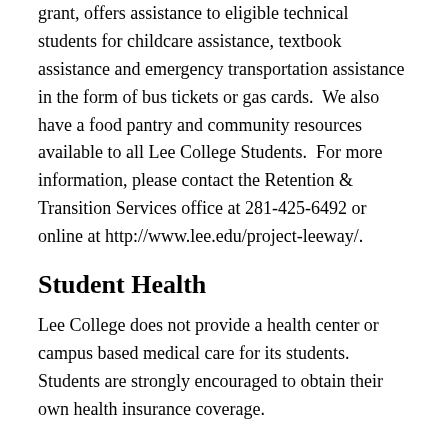grant, offers assistance to eligible technical students for childcare assistance, textbook assistance and emergency transportation assistance in the form of bus tickets or gas cards.  We also have a food pantry and community resources available to all Lee College Students.  For more information, please contact the Retention & Transition Services office at 281-425-6492 or online at http://www.lee.edu/project-leeway/.
Student Health
Lee College does not provide a health center or campus based medical care for its students. Students are strongly encouraged to obtain their own health insurance coverage.
The College does provide emergency (red) telephones and instructions in the hallways of each campus building and first aid boxes in the instructional